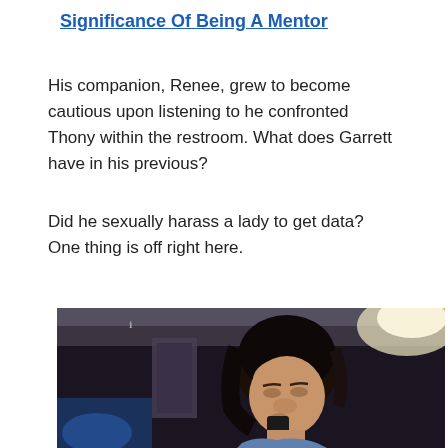Significance Of Being A Mentor
His companion, Renee, grew to become cautious upon listening to he confronted Thony within the restroom. What does Garrett have in his previous?
Did he sexually harass a lady to get data? One thing is off right here.
[Figure (photo): A woman with dark hair looking down, appearing to talk on a phone, in a dimly lit indoor setting with blue/dark background lighting.]